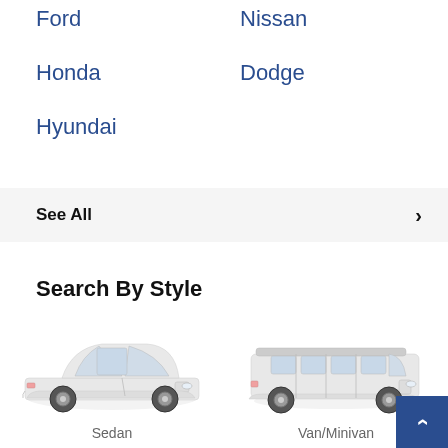Ford
Nissan
Honda
Dodge
Hyundai
See All ›
Search By Style
[Figure (illustration): Side view of a white sedan car]
Sedan
[Figure (illustration): Side view of a white van/minivan]
Van/Minivan
[Figure (illustration): Side view of a white pickup truck (partially visible)]
[Figure (illustration): Side view of a white convertible car (partially visible)]